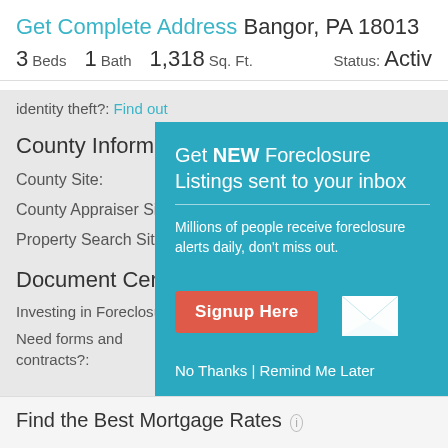Get Complete Address Bangor, PA 18013
3 Beds  1 Bath  1,318 Sq. Ft.  Status: Activ
identity theft?:  Find out
County Information
County Site:
County Appraiser Site:
Property Search Site:
Document Center
Investing in Foreclosu...
Need forms and contracts?:
[Figure (screenshot): Popup modal with teal background prompting user to sign up for foreclosure listing alerts. Contains heading 'Get NEW Foreclosure Listings sent to your inbox', description text, a red 'Signup Here' button, envelope icon, and links 'No Thanks | Remind Me Later']
Find the Best Mortgage Rates